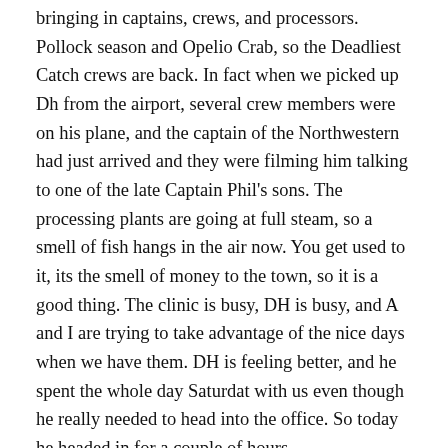bringing in captains, crews, and processors. Pollock season and Opelio Crab, so the Deadliest Catch crews are back. In fact when we picked up Dh from the airport, several crew members were on his plane, and the captain of the Northwestern had just arrived and they were filming him talking to one of the late Captain Phil's sons. The processing plants are going at full steam, so a smell of fish hangs in the air now. You get used to it, its the smell of money to the town, so it is a good thing. The clinic is busy, DH is busy, and A and I are trying to take advantage of the nice days when we have them. DH is feeling better, and he spent the whole day Saturdat with us even though he really needed to head into the office. So today he headed in for a couple of hours.
But Saturday was nice. Mid 30's with no wind (well, Dutch Harbor no wind, which means blowing about 10-15mph). There is a mountain behind our house....we live way up, then the mountain rises up behind us. We decided to go